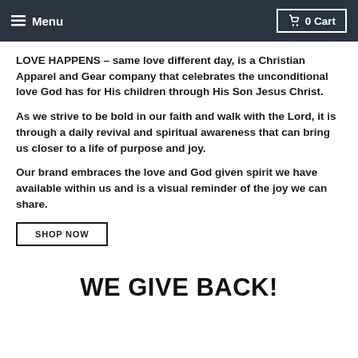Menu  0 Cart
LOVE HAPPENS – same love different day, is a Christian Apparel and Gear company that celebrates the unconditional love God has for His children through His Son Jesus Christ.
As we strive to be bold in our faith and walk with the Lord, it is through a daily revival and spiritual awareness that can bring us closer to a life of purpose and joy.
Our brand embraces the love and God given spirit we have available within us and is a visual reminder of the joy we can share.
SHOP NOW
WE GIVE BACK!